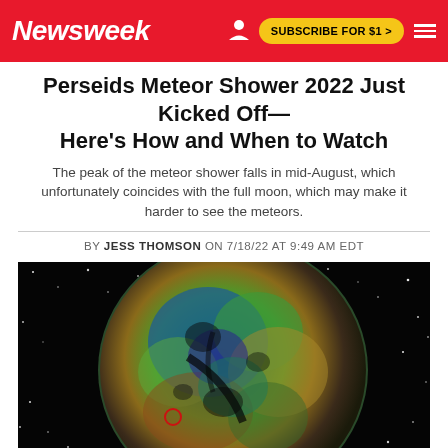Newsweek
Perseids Meteor Shower 2022 Just Kicked Off—Here's How and When to Watch
The peak of the meteor shower falls in mid-August, which unfortunately coincides with the full moon, which may make it harder to see the meteors.
BY JESS THOMSON ON 7/18/22 AT 9:49 AM EDT
[Figure (photo): Colorful false-color image of the moon against a starry black background, showing craters and surface features in green, blue, red, and yellow hues. A small red circle is visible in the lower-left area of the moon.]